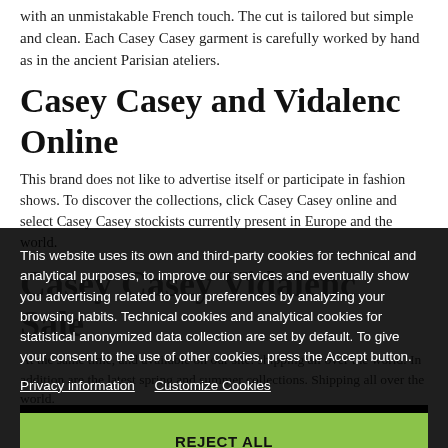with an unmistakable French touch. The cut is tailored but simple and clean. Each Casey Casey garment is carefully worked by hand as in the ancient Parisian ateliers.
Casey Casey and Vidalenc Online
This brand does not like to advertise itself or participate in fashion shows. To discover the collections, click Casey Casey online and select Casey Casey stockists currently present in Europe and the world.
Casey Casey Vidalenc Sale
This website uses its own and third-party cookies for technical and analytical purposes, to improve our services and eventually show you advertising related to your preferences by analyzing your browsing habits. Technical cookies and analytical cookies for statistical anonymized data collection are set by default. To give your consent to the use of other cookies, press the Accept button.
Privacy information   Customize Cookies
REJECT ALL
I ACCEPT
SELECTED BRANDS